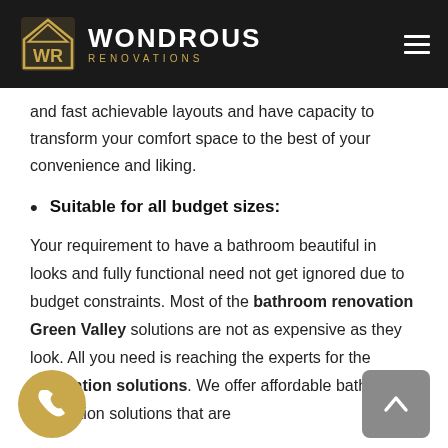WONDROUS RENOVATIONS
and fast achievable layouts and have capacity to transform your comfort space to the best of your convenience and liking.
Suitable for all budget sizes:
Your requirement to have a bathroom beautiful in looks and fully functional need not get ignored due to budget constraints. Most of the bathroom renovation Green Valley solutions are not as expensive as they look. All you need is reaching the experts for the renovation solutions. We offer affordable bathroom renovation solutions that are